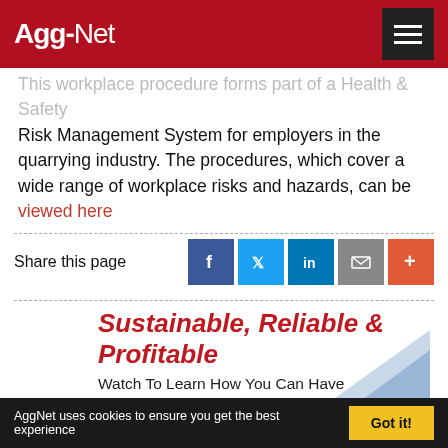Agg-Net
This workplace procedure forms part of a Health & Safety Risk Management System for employers in the quarrying industry. The procedures, which cover a wide range of workplace risks and hazards, can be viewed here
Share this page
[Figure (infographic): Social share icons: Facebook, Twitter, LinkedIn, Email, Plus]
[Figure (infographic): Advertisement: Sustainable, Reliable & Profitable - Watch To Learn How You Can Have It All With A McLanahan Wash Plant]
AggNet uses cookies to ensure you get the best experience